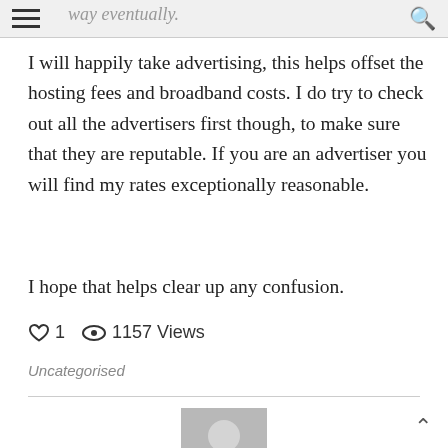way eventually.
I will happily take advertising, this helps offset the hosting fees and broadband costs. I do try to check out all the advertisers first though, to make sure that they are reputable. If you are an advertiser you will find my rates exceptionally reasonable.
I hope that helps clear up any confusion.
♡ 1  👁 1157 Views
Uncategorised
[Figure (photo): Default avatar/profile picture placeholder showing a silhouette of a person on a grey background]